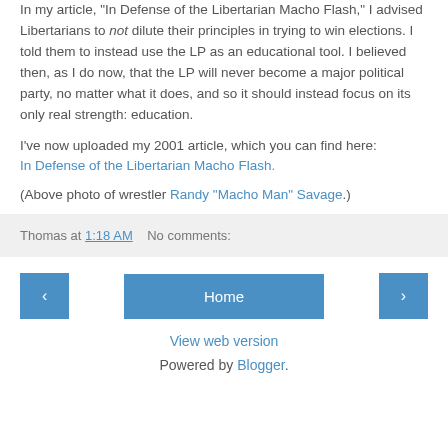In my article, "In Defense of the Libertarian Macho Flash," I advised Libertarians to not dilute their principles in trying to win elections. I told them to instead use the LP as an educational tool. I believed then, as I do now, that the LP will never become a major political party, no matter what it does, and so it should instead focus on its only real strength: education.
I've now uploaded my 2001 article, which you can find here: In Defense of the Libertarian Macho Flash.
(Above photo of wrestler Randy "Macho Man" Savage.)
Thomas at 1:18 AM   No comments:
Home
View web version
Powered by Blogger.